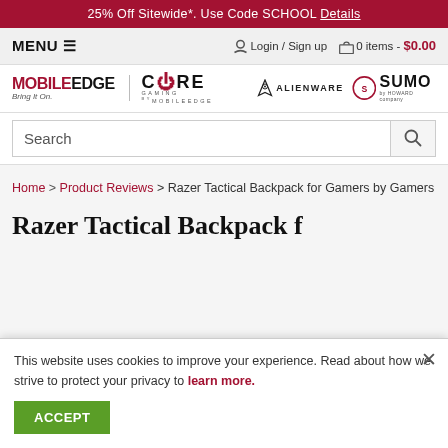25% Off Sitewide*. Use Code SCHOOL Details
MENU  Login / Sign up  0 items - $0.00
[Figure (logo): Mobile Edge, Core Gaming by Mobile Edge, Alienware, and Sumo brand logos]
Search
Home > Product Reviews > Razer Tactical Backpack for Gamers by Gamers
Razer Tactical Backpack f...
This website uses cookies to improve your experience. Read about how we strive to protect your privacy to learn more.
ACCEPT